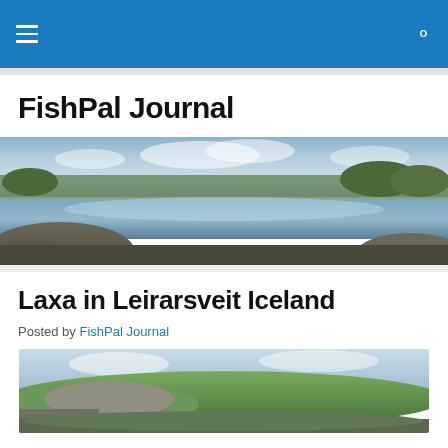FishPal Journal — navigation bar
FishPal Journal
[Figure (photo): Wide panoramic photo of a river scene with rocky banks, calm reflective water, trees and hills in the background under a partly cloudy sky]
Laxa in Leirarsveit Iceland
Posted by FishPal Journal
[Figure (photo): Landscape photo of rocky cliffs and green rolling hills under a partly cloudy sky, likely Iceland terrain]